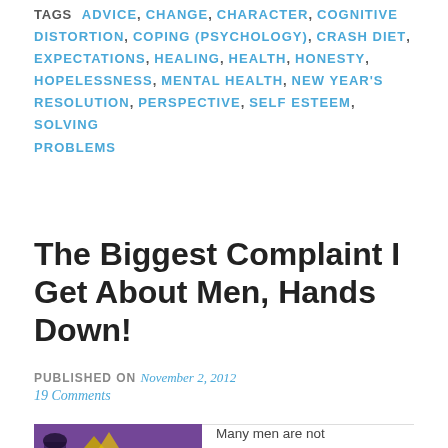TAGS ADVICE, CHANGE, CHARACTER, COGNITIVE DISTORTION, COPING (PSYCHOLOGY), CRASH DIET, EXPECTATIONS, HEALING, HEALTH, HONESTY, HOPELESSNESS, MENTAL HEALTH, NEW YEAR'S RESOLUTION, PERSPECTIVE, SELF ESTEEM, SOLVING PROBLEMS
The Biggest Complaint I Get About Men, Hands Down!
PUBLISHED ON November 2, 2012
19 Comments
[Figure (photo): Purple/violet background image, partial view, appears to be a cartoon or stylized figure with yellow/gold elements]
Many men are not emotionally available